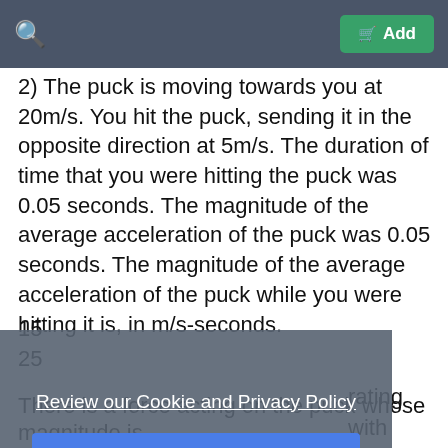Add
2) The puck is moving towards you at 20m/s. You hit the puck, sending it in the opposite direction at 5m/s. The duration of time that you were hitting the puck was 0.05 seconds. The magnitude of the average acceleration of the puck was 0.05 seconds. The magnitude of the average acceleration of the puck while you were hitting it is, in m/s-seconds.
15
25
Review our Cookie and Privacy Policy
OK
rating with be true?
There is a force acting on the puck whose magnitude is